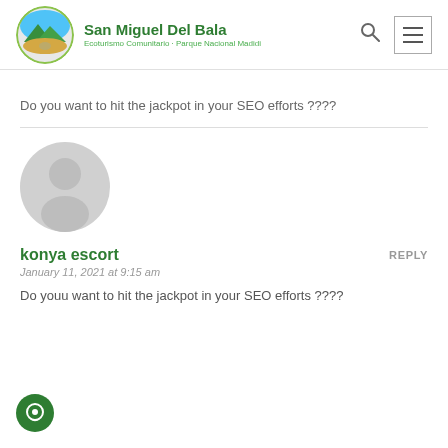San Miguel Del Bala — Ecoturismo Comunitario · Parque Nacional Madidi
Do you want to hit the jackpot in your SEO efforts ????
[Figure (illustration): Generic grey user avatar icon (circle with person silhouette)]
konya escort — REPLY
January 11, 2021 at 9:15 am
Do youu want to hit the jackpot in your SEO efforts ????